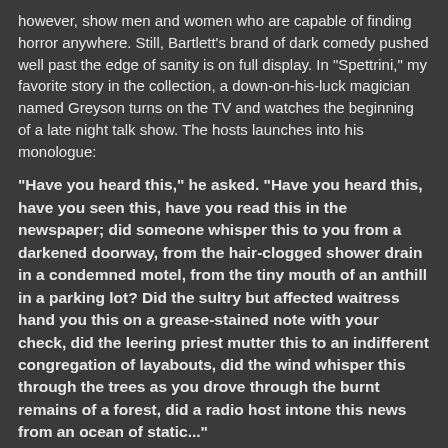however, show men and women who are capable of finding horror anywhere. Still, Bartlett's brand of dark comedy pushed well past the edge of sanity is on full display. In "Spettrini," my favorite story in the collection, a down-on-his-luck magician named Greyson turns on the TV and watches the beginning of a late night talk show. The hosts launches into his monologue:
"Have you heard this," he asked. "Have you heard this, have you seen this, have you read this in the newspaper; did someone whisper this to you from a darkened doorway, from the hair-clogged shower drain in a condemned motel, from the tiny mouth of an anthill in a parking lot? Did the sultry but affected waitress hand you this on a grease-stained note with your check, did the leering priest mutter this to an indifferent congregation of layabouts, did the wind whisper this through the trees as you drove through the burnt remains of a forest, did a radio host intone this news from an ocean of static..."
Greyson turns off the TV here, "despite having had a desire